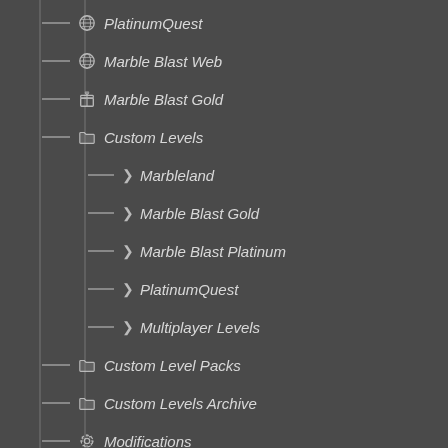PlatinumQuest
Marble Blast Web
Marble Blast Gold
Custom Levels
Marbleland
Marble Blast Gold
Marble Blast Platinum
PlatinumQuest
Multiplayer Levels
Custom Level Packs
Custom Levels Archive
Modifications
G3orge's MBG MiniMod
Gerson's Level Compilation
Marble Blast Advanced
Marble Blast Emerald
Marble Blast Evil Mini Mod